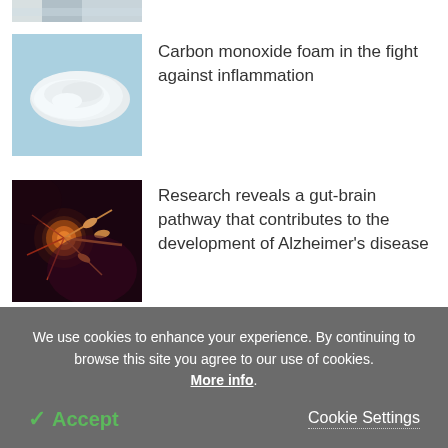[Figure (photo): Partial top strip of a cropped image, appears to be a person in white clothing]
[Figure (photo): White foam on a blue background, representing carbon monoxide foam]
Carbon monoxide foam in the fight against inflammation
[Figure (photo): Artistic rendering of a neuron with red and gold connections on dark background, representing gut-brain pathway]
Research reveals a gut-brain pathway that contributes to the development of Alzheimer's disease
[Figure (photo): Partial bottom strip of an image, appears green/nature related]
We use cookies to enhance your experience. By continuing to browse this site you agree to our use of cookies. More info.
✓ Accept
Cookie Settings